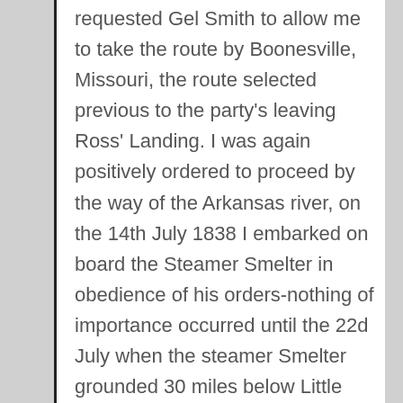requested Gel Smith to allow me to take the route by Boonesville, Missouri, the route selected previous to the party's leaving Ross' Landing. I was again positively ordered to proceed by the way of the Arkansas river, on the 14th July 1838 I embarked on board the Steamer Smelter in obedience of his orders-nothing of importance occurred until the 22d July when the steamer Smelter grounded 30 miles below Little Rock, she could proceed no further owing to the low stage of the water, here I was obliged to land the party on the bank of the river, the Steamer